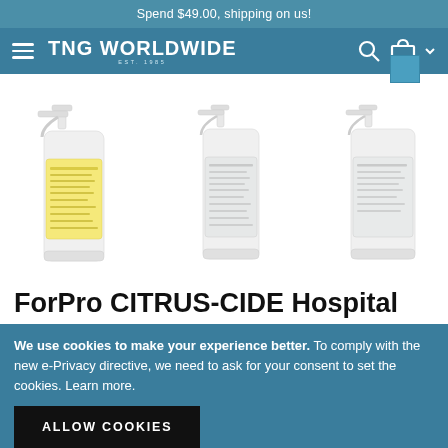Spend $49.00, shipping on us!
[Figure (screenshot): TNG Worldwide logo in white text on teal navigation bar with hamburger menu, search icon, and shopping bag icon]
[Figure (photo): Three spray cleaning bottles (ForPro CITRUS-CIDE Hospital disinfectant) displayed side by side on white background — left bottle has yellow label, center bottle has light grey label, right bottle partially cropped]
ForPro CITRUS-CIDE Hospital
We use cookies to make your experience better. To comply with the new e-Privacy directive, we need to ask for your consent to set the cookies. Learn more.
ALLOW COOKIES